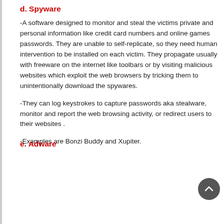d. Spyware
-A software designed to monitor and steal the victims private and personal information like credit card numbers and online games passwords. They are unable to self-replicate, so they need human intervention to be installed on each victim. They propagate usually with freeware on the internet like toolbars or by visiting malicious websites which exploit the web browsers by tricking them to unintentionally download the spywares.
-They can log keystrokes to capture passwords aka stealware, monitor and report the web browsing activity, or redirect users to their websites .
-Examples are Bonzi Buddy and Xupiter.
e. Adware